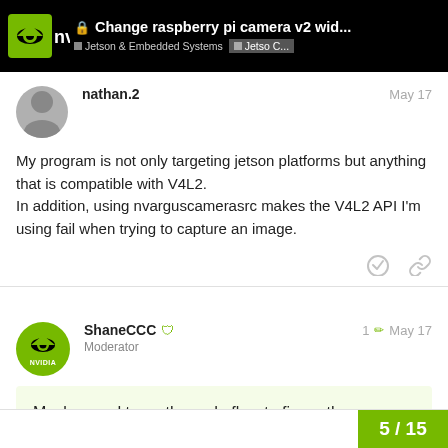Change raspberry pi camera v2 wid... | Jetson & Embedded Systems | Jetso C...
nathan.2
May 17
My program is not only targeting jetson platforms but anything that is compatible with V4L2.
In addition, using nvarguscamerasrc makes the V4L2 API I'm using fail when trying to capture an image.
ShaneCCC  Moderator
1  May 17
Maybe need trace the code flow to figure the problem.
5/15